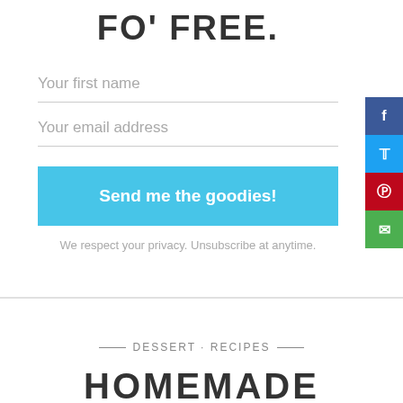FO' FREE.
Your first name
Your email address
Send me the goodies!
We respect your privacy. Unsubscribe at anytime.
DESSERT · RECIPES
HOMEMADE